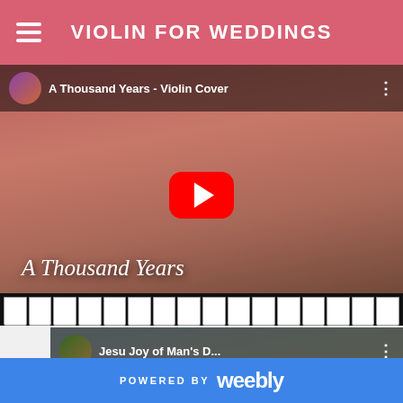VIOLIN FOR WEDDINGS
[Figure (screenshot): YouTube video embed showing a violinist playing 'A Thousand Years' violin cover, with a piano in the background, pink/salmon colored room. Large red YouTube play button in center. Text overlay 'A Thousand Years' at bottom left.]
[Figure (screenshot): YouTube video embed showing 'Jesu Joy of Man's D...' with avatar and title bar at top. Violinist visible in frame.]
POWERED BY weebly